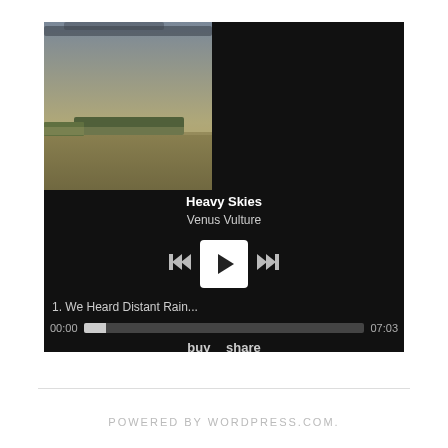[Figure (screenshot): Bandcamp-style music player widget with album art showing a landscape with heavy skies, dark background. Displays track 'Heavy Skies' by Venus Vulture, with playback controls (previous, play, next), playlist item '1. We Heard Distant Rain...', progress bar showing 00:00 to 07:03, and buy/share buttons.]
POWERED BY WORDPRESS.COM.